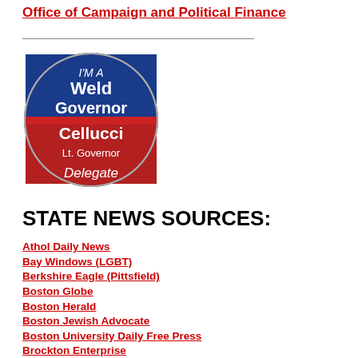Office of Campaign and Political Finance
[Figure (photo): A campaign button/badge with blue top half reading 'I'M A Weld Governor' and red bottom half reading 'Cellucci Lt. Governor Delegate']
STATE NEWS SOURCES:
Athol Daily News
Bay Windows (LGBT)
Berkshire Eagle (Pittsfield)
Boston Globe
Boston Herald
Boston Jewish Advocate
Boston University Daily Free Press
Brockton Enterprise
Canton Citizen
Cape Cod Times
Dorchester Reporter
Everett Independent
Fall River Herald News